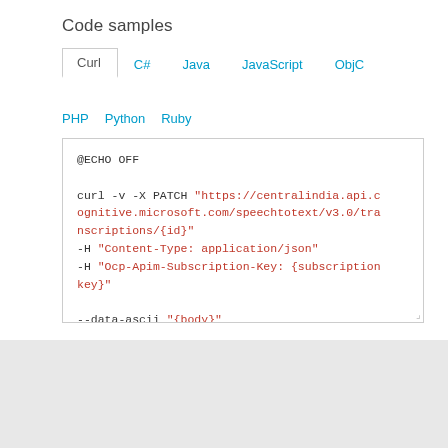Code samples
Curl  C#  Java  JavaScript  ObjC  PHP  Python  Ruby
@ECHO OFF

curl -v -X PATCH "https://centralindia.api.cognitive.microsoft.com/speechtotext/v3.0/transcriptions/{id}"
-H "Content-Type: application/json"
-H "Ocp-Apim-Subscription-Key: {subscriptionkey}"

--data-ascii "{body}"
Contact Us   Privacy & Cookies   Terms of Use   Developer Code of Conduct   Trademarks   Report Abuse   © 2017 Microsoft